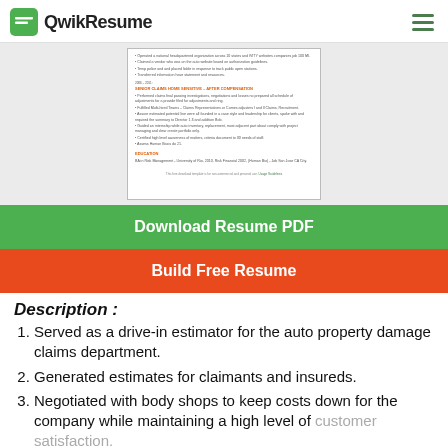QwikResume
[Figure (screenshot): Thumbnail preview of a resume PDF showing experience and education sections for a Senior Claims Home Sensitive – After Compensation role]
Download Resume PDF
Build Free Resume
Description :
Served as a drive-in estimator for the auto property damage claims department.
Generated estimates for claimants and insureds.
Negotiated with body shops to keep costs down for the company while maintaining a high level of customer satisfaction.